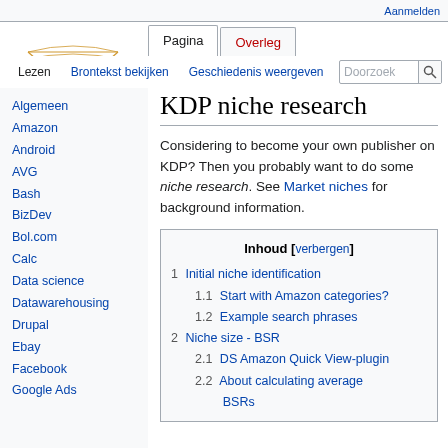Aanmelden
Pagina | Overleg | Lezen | Brontekst bekijken | Geschiedenis weergeven | Doorzoek
KDP niche research
Considering to become your own publisher on KDP? Then you probably want to do some niche research. See Market niches for background information.
Inhoud [verbergen]
1 Initial niche identification
1.1 Start with Amazon categories?
1.2 Example search phrases
2 Niche size - BSR
2.1 DS Amazon Quick View-plugin
2.2 About calculating average BSRs
Algemeen | Amazon | Android | AVG | Bash | BizDev | Bol.com | Calc | Data science | Datawarehousing | Drupal | Ebay | Facebook | Google Ads